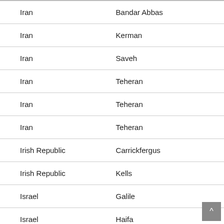| Iran | Bandar Abbas |
| Iran | Kerman |
| Iran | Saveh |
| Iran | Teheran |
| Iran | Teheran |
| Iran | Teheran |
| Irish Republic | Carrickfergus |
| Irish Republic | Kells |
| Israel | Galile |
| Israel | Haifa |
| Israel | Haifa Bay |